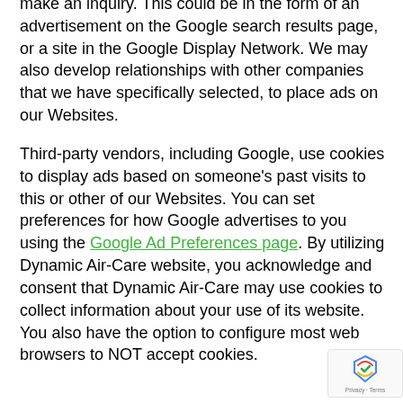make an inquiry. This could be in the form of an advertisement on the Google search results page, or a site in the Google Display Network. We may also develop relationships with other companies that we have specifically selected, to place ads on our Websites.
Third-party vendors, including Google, use cookies to display ads based on someone's past visits to this or other of our Websites. You can set preferences for how Google advertises to you using the Google Ad Preferences page. By utilizing Dynamic Air-Care website, you acknowledge and consent that Dynamic Air-Care may use cookies to collect information about your use of its website. You also have the option to configure most web browsers to NOT accept cookies.